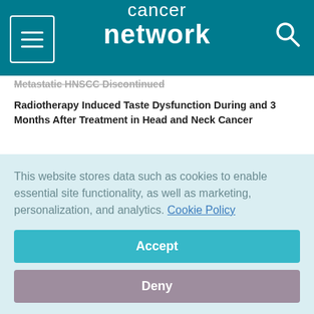cancer network
Metastatic HNSCC Discontinued
Radiotherapy Induced Taste Dysfunction During and 3 Months After Treatment in Head and Neck Cancer
Pembrolizumab, CRT Combo Misses EFS End Point in Unresected Locally Advanced HNSCC
This website stores data such as cookies to enable essential site functionality, as well as marketing, personalization, and analytics. Cookie Policy
Accept
Deny